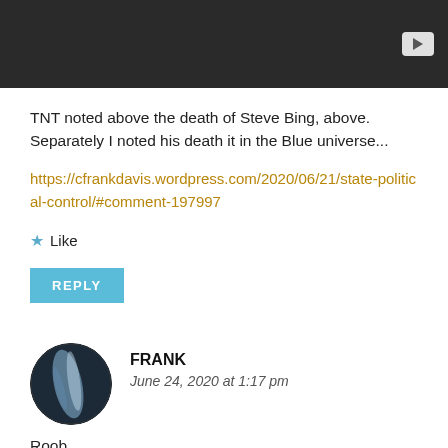[Figure (screenshot): Dark video player bar with YouTube play button icon in top-right corner]
TNT noted above the death of Steve Bing, above. Separately I noted his death it in the Blue universe...
https://cfrankdavis.wordpress.com/2020/06/21/state-political-control/#comment-197997
★ Like
REPLY
FRANK
June 24, 2020 at 1:17 pm
Roob